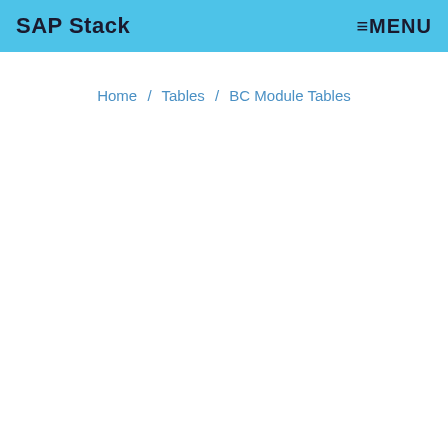SAP Stack  ≡MENU
Home / Tables / BC Module Tables